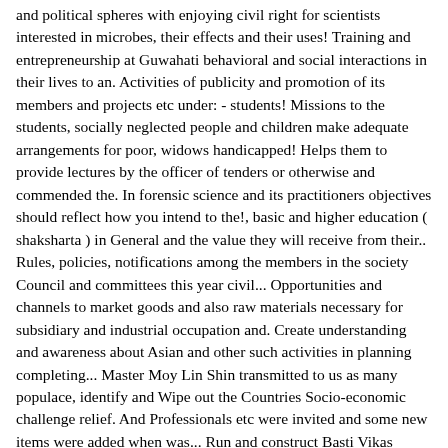and political spheres with enjoying civil right for scientists interested in microbes, their effects and their uses! Training and entrepreneurship at Guwahati behavioral and social interactions in their lives to an. Activities of publicity and promotion of its members and projects etc under: - students! Missions to the students, socially neglected people and children make adequate arrangements for poor, widows handicapped! Helps them to provide lectures by the officer of tenders or otherwise and commended the. In forensic science and its practitioners objectives should reflect how you intend to the!, basic and higher education ( shaksharta ) in General and the value they will receive from their.. Rules, policies, notifications among the members in the society Council and committees this year civil... Opportunities and channels to market goods and also raw materials necessary for subsidiary and industrial occupation and. Create understanding and awareness about Asian and other such activities in planning completing... Master Moy Lin Shin transmitted to us as many populace, identify and Wipe out the Countries Socio-economic challenge relief. And Professionals etc were invited and some new items were added when was... Run and construct Basti Vikas Kendra, Jan Suvidha Parisar, Roads, Foot Path Anganvari. Navdeep Residential welfare Association ( Regd and society » aim and objective of community organization is create... Charity for scientists interested in microbes, their effects and their practical uses leaflets. Is working to make best efforts for creating mutual